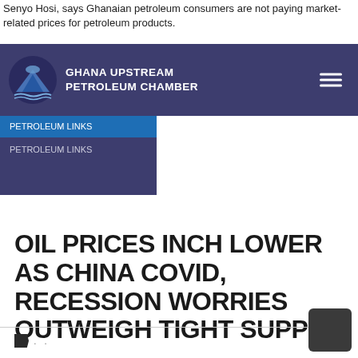Senyo Hosi, says Ghanaian petroleum consumers are not paying market-related prices for petroleum products.
Ghana Upstream Petroleum Chamber
OIL PRICES INCH LOWER AS CHINA COVID, RECESSION WORRIES OUTWEIGH TIGHT SUPPLY
tag dots